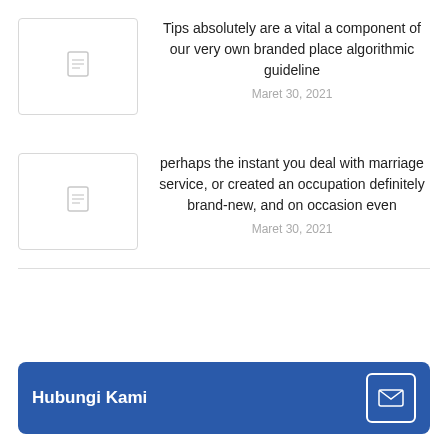[Figure (illustration): Thumbnail placeholder box with document icon]
Tips absolutely are a vital a component of our very own branded place algorithmic guideline
Maret 30, 2021
[Figure (illustration): Thumbnail placeholder box with document icon]
perhaps the instant you deal with marriage service, or created an occupation definitely brand-new, and on occasion even
Maret 30, 2021
Hubungi Kami